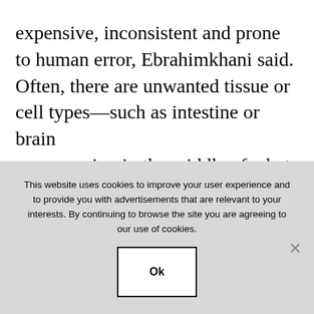expensive, inconsistent and prone to human error, Ebrahimkhani said. Often, there are unwanted tissue or cell types—such as intestine or brain [cells] growing in the middle of what should be [a] liver.
[...] genetic engineering is cleaner but also more [com]plex to orchestrate. So, Ebrahimkhani [part]nered with Patrick Cahan, Ph.D., at Johns [Hopkins...]
PREVIOUS POST
NEXT POST
This website uses cookies to improve your user experience and to provide you with advertisements that are relevant to your interests. By continuing to browse the site you are agreeing to our use of cookies.